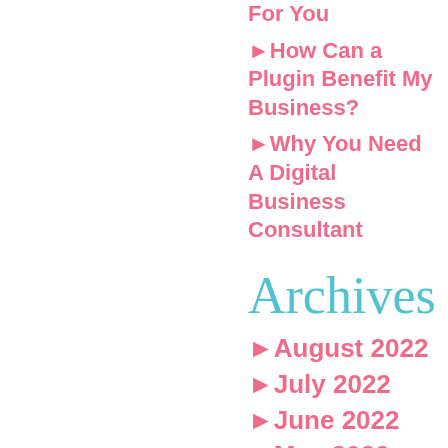For You
►How Can a Plugin Benefit My Business?
►Why You Need A Digital Business Consultant
Archives
►August 2022
►July 2022
►June 2022
►May 2022
►April 2022